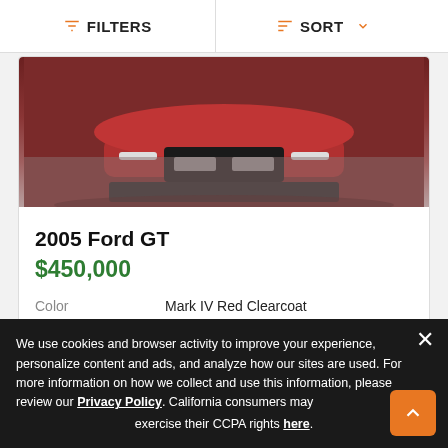FILTERS  SORT
[Figure (photo): Front view of a red Ford GT sports car photographed from above on textured pavement]
2005 Ford GT
$450,000
| Color | Mark IV Red Clearcoat |
| Miles | 2,300 |
[Figure (photo): Partial view of another car listing card showing photo count badge (57) and action buttons]
We use cookies and browser activity to improve your experience, personalize content and ads, and analyze how our sites are used. For more information on how we collect and use this information, please review our Privacy Policy. California consumers may exercise their CCPA rights here.